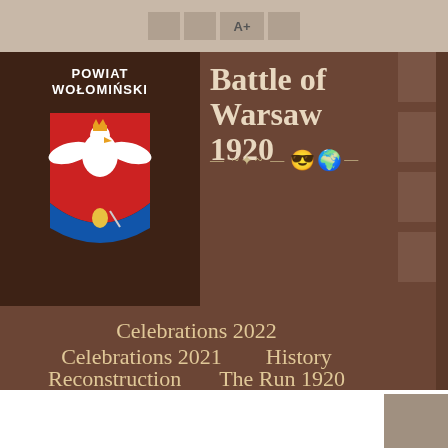A+
[Figure (logo): Powiat Wołomiński coat of arms logo — dark brown background, white eagle on red field, coat of arms with knight figure]
Battle of Warsaw 1920
Celebrations 2022
Celebrations 2021
History
Reconstruction
The Run 1920
For media
Contact